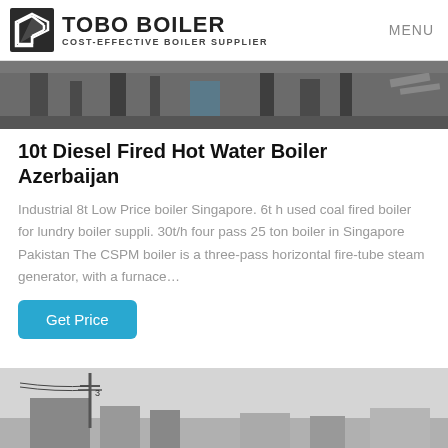TOBO BOILER — COST-EFFECTIVE BOILER SUPPLIER | MENU
[Figure (photo): Industrial boiler facility interior with metal frames and equipment]
10t Diesel Fired Hot Water Boiler Azerbaijan
Industrial 8t Low Price boiler Singapore. 6t h used coal fired boiler for lundry boiler suppli. 30t/h four pass 25 ton boiler in Singapore Pakistan The CSPM boiler is a three-pass horizontal fire-tube steam generator, with a furnace…
Get Price
[Figure (photo): Outdoor boiler installation with utility poles and industrial buildings]